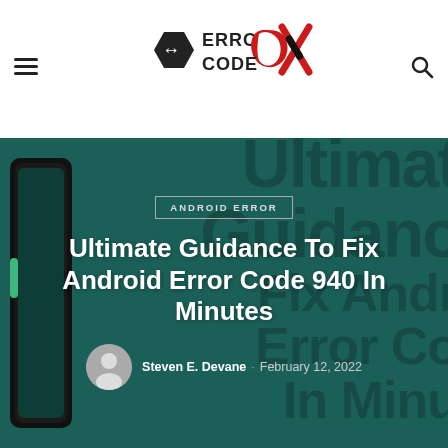Error Code OX — website header with hamburger menu and search icon
[Figure (logo): Error Code OX logo with stylized arrow/hex icon in black and red/black X mark]
[Figure (photo): Hero image with dark teal background showing a smartphone and large watermark text reading 'Ultimate Guidance Fix Android Error Code In Minutes']
ANDROID ERROR
Ultimate Guidance To Fix Android Error Code 940 In Minutes
Steven E. Devane · February 12, 2022